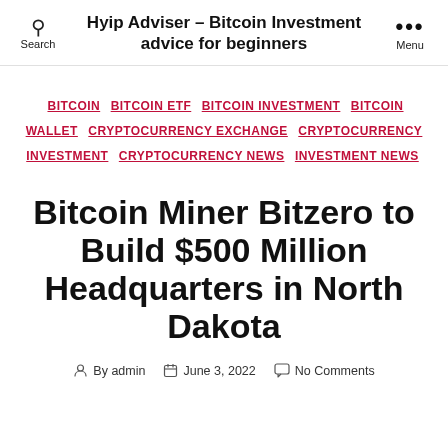Hyip Adviser - Bitcoin Investment advice for beginners
BITCOIN  BITCOIN ETF  BITCOIN INVESTMENT  BITCOIN WALLET  CRYPTOCURRENCY EXCHANGE  CRYPTOCURRENCY INVESTMENT  CRYPTOCURRENCY NEWS  INVESTMENT NEWS
Bitcoin Miner Bitzero to Build $500 Million Headquarters in North Dakota
By admin  June 3, 2022  No Comments